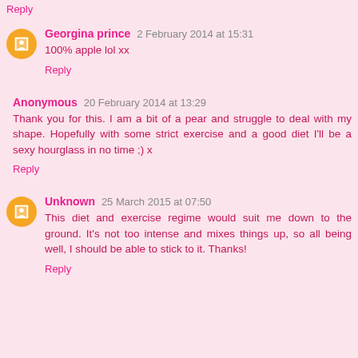Reply
Georgina prince  2 February 2014 at 15:31
100% apple lol xx
Reply
Anonymous  20 February 2014 at 13:29
Thank you for this. I am a bit of a pear and struggle to deal with my shape. Hopefully with some strict exercise and a good diet I'll be a sexy hourglass in no time ;) x
Reply
Unknown  25 March 2015 at 07:50
This diet and exercise regime would suit me down to the ground. It's not too intense and mixes things up, so all being well, I should be able to stick to it. Thanks!
Reply